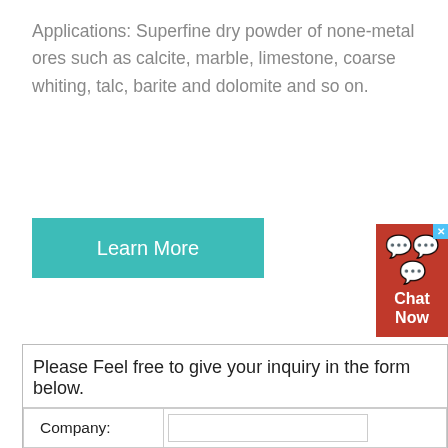Applications: Superfine dry powder of none-metal ores such as calcite, marble, limestone, coarse whiting, talc, barite and dolomite and so on.
Learn More
[Figure (other): Chat Now widget button with red background, white chat bubble icon, and X close button]
Please Feel free to give your inquiry in the form below.
| Field | Input |
| --- | --- |
| Company: |  |
| Address: |  |
| Tel: |  |
| e-mail: |  |
| Name: |  |
| Product: | mobile crusher  crusher machine  sand m... machine |
|  | Grinding mill... |